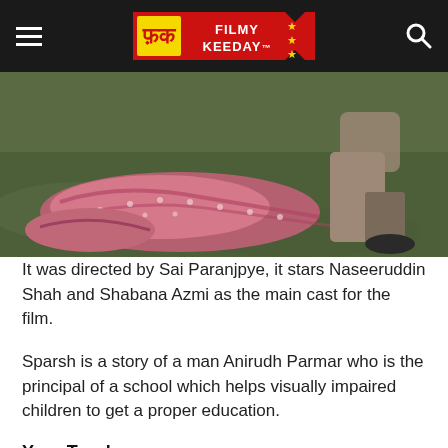FILMY KEEDAY
[Figure (photo): Scene from the film Sparsh showing a person lying on grass wearing a pink/red saree, with another person kneeling beside them on green grass]
It was directed by Sai Paranjpye, it stars Naseeruddin Shah and Shabana Azmi as the main cast for the film.
Sparsh is a story of a man Anirudh Parmar who is the principal of a school which helps visually impaired children to get a proper education.
Your Turn!
These are our favorite Indian Movies based on the life of Blind